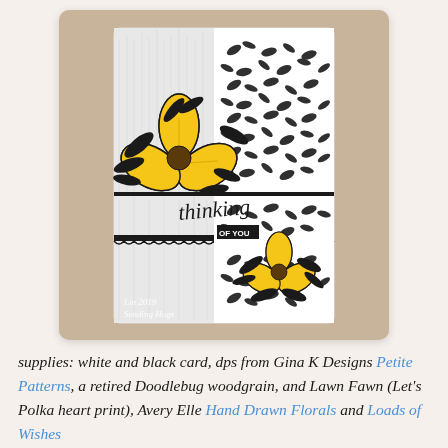[Figure (photo): A handmade greeting card featuring two large yellow flowers with black outlines and black leaf silhouettes, on a white woodgrain background with a black floral patterned panel. The card has a 'thinking of you' sentiment stamped in script. Text in bottom-left corner reads 'Lin 2019 Sending Hugs'. The card is photographed on a tan/kraft paper background.]
supplies: white and black card, dps from Gina K Designs Petite Patterns, a retired Doodlebug woodgrain, and Lawn Fawn (Let's Polka heart print), Avery Elle Hand Drawn Florals and Loads of Wishes